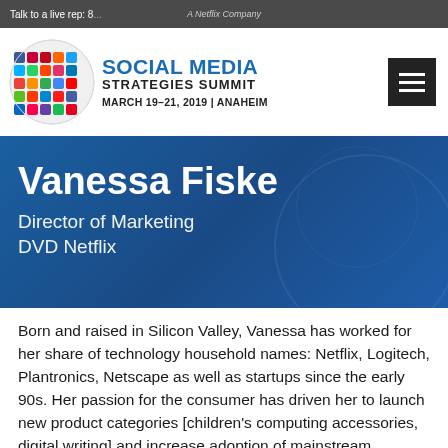Talk to a live rep: 8... | A Netflix Company
SOCIAL MEDIA STRATEGIES SUMMIT
MARCH 19-21, 2019 | ANAHEIM
Vanessa Fiske
Director of Marketing
DVD Netflix
Born and raised in Silicon Valley, Vanessa has worked for her share of technology household names: Netflix, Logitech, Plantronics, Netscape as well as startups since the early 90s. Her passion for the consumer has driven her to launch new product categories [children's computing accessories, digital writing] and increase adoption of mainstream products [mobile